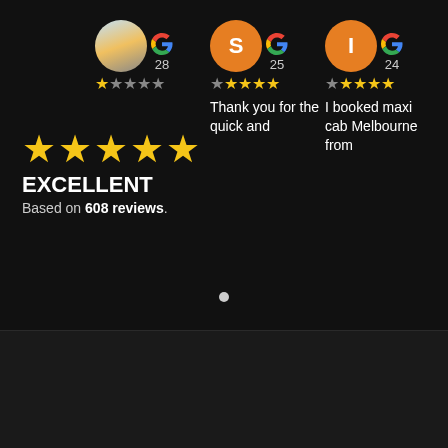[Figure (screenshot): Google Reviews widget showing three reviewer avatars with review counts (28, 25, 24) and star ratings]
EXCELLENT
Based on 608 reviews.
Thank you for the quick and
I booked maxi cab Melbourne from
All right reserved.
Terms of Use - Privacy Policy
© Melbourne Airport Maxi Cab